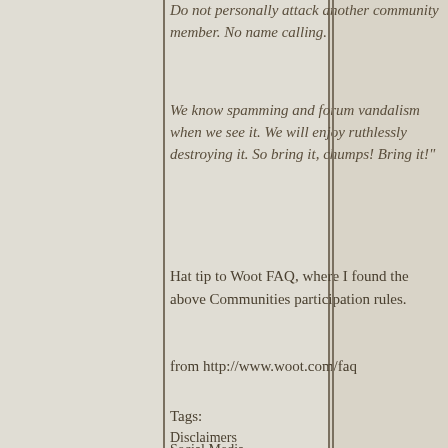Do not personally attack another community member. No name calling.
We know spamming and forum vandalism when we see it. We will enjoy ruthlessly destroying it. So bring it, chumps! Bring it!"
Hat tip to Woot FAQ, where I found the above Communities participation rules.
from http://www.woot.com/faq
Tags:
Disclaimers
Social Media